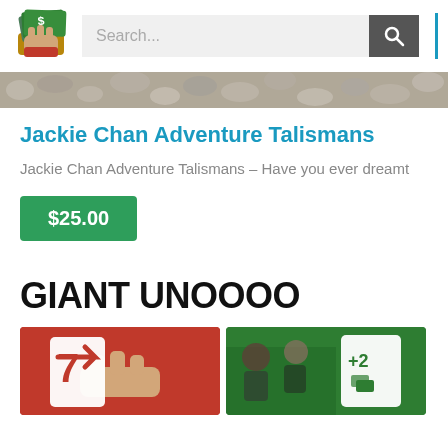[Figure (logo): Logo showing a hand holding cash/money bills]
Search...
[Figure (photo): Texture banner image showing a stone or gravel surface]
Jackie Chan Adventure Talismans
Jackie Chan Adventure Talismans – Have you ever dreamt
$25.00
GIANT UNOOOO
[Figure (photo): Two photos side by side showing large giant UNO cards being held up]